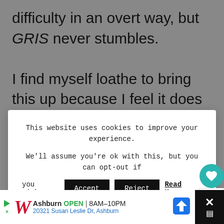difficulty in an overt way, but GRIS never stumbles.
I find myself loathe to bring this up because I feel it does a disservice to the game
This website uses cookies to improve your experience. We'll assume you're ok with this, but you can opt-out if you wish. Accept Reject Read More
almost anyone could pick up and play" link="" color="" class="" size=""][/perfectpullquote]
[Figure (screenshot): Cookie consent overlay with Accept, Reject, and Read More buttons on a white card over a grey background article page]
Ashburn OPEN 8AM-10PM 20321 Susan Leslie Dr, Ashburn